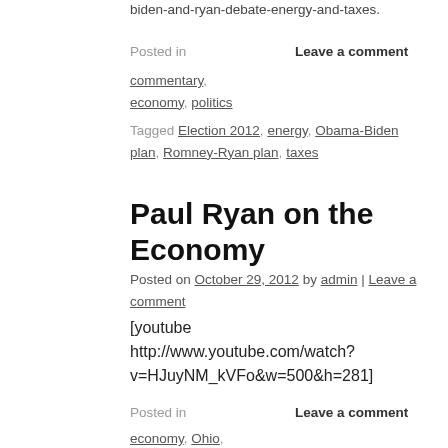biden-and-ryan-debate-energy-and-taxes.
Posted in   Leave a comment
commentary, economy, politics
Tagged Election 2012, energy, Obama-Biden plan, Romney-Ryan plan, taxes
Paul Ryan on the Economy
Posted on October 29, 2012 by admin | Leave a comment
[youtube http://www.youtube.com/watch?v=HJuyNM_kVFo&w=500&h=281]
Posted in   Leave a comment
economy, Ohio, politics